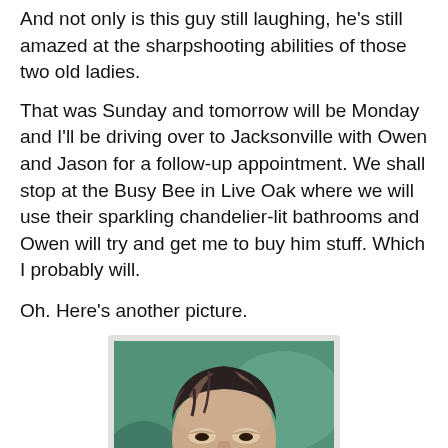And not only is this guy still laughing, he's still amazed at the sharpshooting abilities of those two old ladies.
That was Sunday and tomorrow will be Monday and I'll be driving over to Jacksonville with Owen and Jason for a follow-up appointment. We shall stop at the Busy Bee in Live Oak where we will use their sparkling chandelier-lit bathrooms and Owen will try and get me to buy him stuff. Which I probably will.
Oh. Here's another picture.
[Figure (photo): Close-up photo of a middle-aged man with dark hair streaked with lighter tones, a beard, eyes partially closed, wearing a teal/blue jacket, with a blurred green background.]